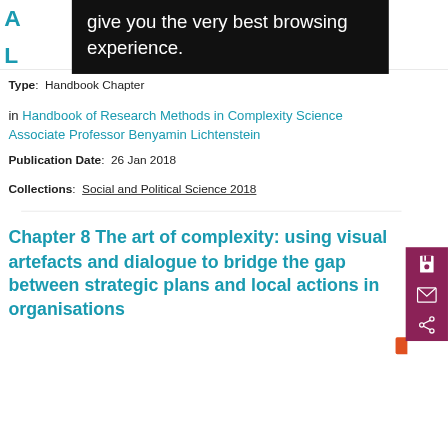[Figure (screenshot): Black tooltip/overlay box with white text reading 'give you the very best browsing experience.']
Type:  Handbook Chapter
in Handbook of Research Methods in Complexity Science Associate Professor Benyamin Lichtenstein
Publication Date:  26 Jan 2018
Collections:  Social and Political Science 2018
Chapter 8 The art of complexity: using visual artefacts and dialogue to bridge the gap between strategic plans and local actions in organisations